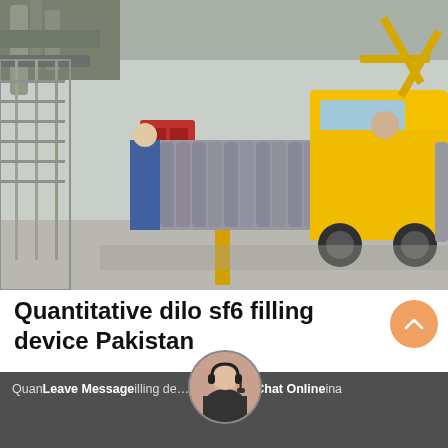[Figure (photo): Industrial facility with a yellow truck and rows of gray gas cylinders. Workers in blue uniforms visible near the cylinders. Large machinery and piping visible on the left. Interior of a warehouse or industrial building.]
Quantitative dilo sf6 filling device Pakistan
Quantitative dilo sf6 filling device Pakistan,De… ina … Leave Message … Chat Online